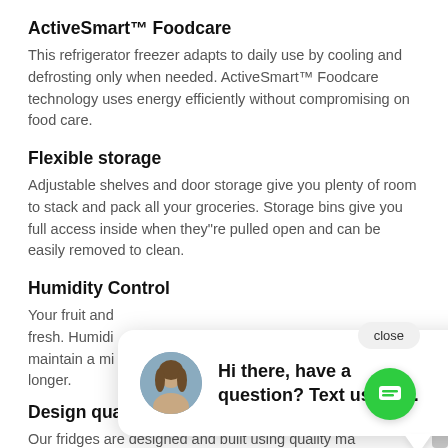ActiveSmart™ Foodcare
This refrigerator freezer adapts to daily use by cooling and defrosting only when needed. ActiveSmart™ Foodcare technology uses energy efficiently without compromising on food care.
Flexible storage
Adjustable shelves and door storage give you plenty of room to stack and pack all your groceries. Storage bins give you full access inside when they"re pulled open and can be easily removed to clean.
Humidity Control
Your fruit and ... fresh. Humidi... maintain a mi... longer.
Design quality
Our fridges are designed and built using quality ma... We use real stainless steel on our fridges and solid g... for shelving.
[Figure (screenshot): Live chat popup overlay with a photo of a woman and text: 'Hi there, have a question? Text us here.' with a close button and green chat button.]